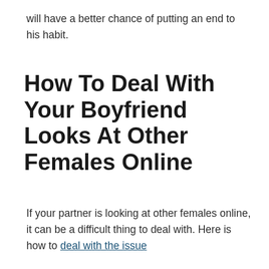will have a better chance of putting an end to his habit.
How To Deal With Your Boyfriend Looks At Other Females Online
If your partner is looking at other females online, it can be a difficult thing to deal with. Here is how to deal with the issue